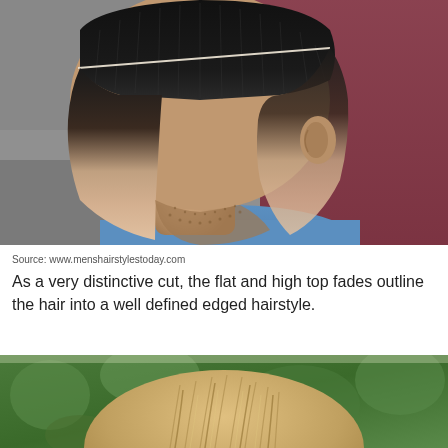[Figure (photo): Back/side view of a man's head showing a flat top fade haircut with a hard part line and skin fade on the sides, against a blurred reddish-gray background.]
Source: www.menshairstylestoday.com
As a very distinctive cut, the flat and high top fades outline the hair into a well defined edged hairstyle.
[Figure (photo): Top-down view of a person with medium-length light brown/blonde hair styled back, outdoors with a blurred green background.]